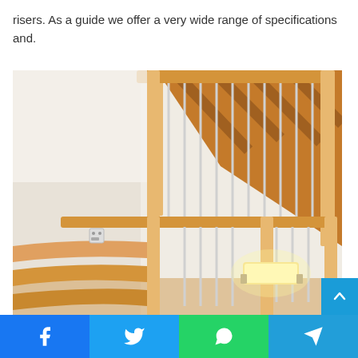risers. As a guide we offer a very wide range of specifications and.
[Figure (photo): Interior wooden open-riser staircase with light wood handrail and metal balusters, photographed from below looking up, showing the underside of treads and a wall-mounted light fixture.]
Facebook | Twitter | WhatsApp | Telegram social share bar